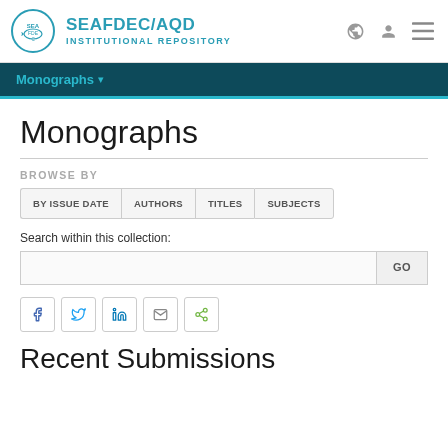SEAFDEC/AQD INSTITUTIONAL REPOSITORY
Monographs
BROWSE BY
BY ISSUE DATE   AUTHORS   TITLES   SUBJECTS
Search within this collection:
Recent Submissions